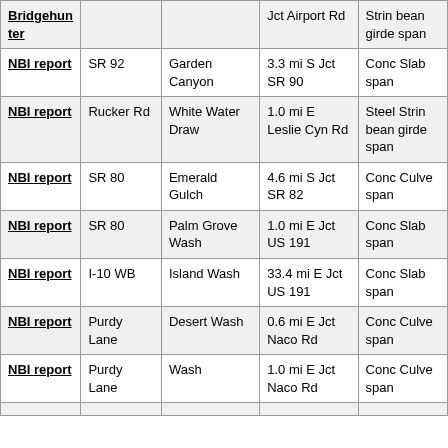| Bridgehunter |  |  | Jct Airport Rd | Strin beam girde span |
| NBI report | SR 92 | Garden Canyon | 3.3 mi S Jct SR 90 | Conc Slab span |
| NBI report | Rucker Rd | White Water Draw | 1.0 mi E Leslie Cyn Rd | Steel Strin bean girde span |
| NBI report | SR 80 | Emerald Gulch | 4.6 mi S Jct SR 82 | Conc Culve span |
| NBI report | SR 80 | Palm Grove Wash | 1.0 mi E Jct US 191 | Conc Slab span |
| NBI report | I-10 WB | Island Wash | 33.4 mi E Jct US 191 | Conc Slab span |
| NBI report | Purdy Lane | Desert Wash | 0.6 mi E Jct Naco Rd | Conc Culve span |
| NBI report | Purdy Lane | Wash | 1.0 mi E Jct Naco Rd | Conc Culve span |